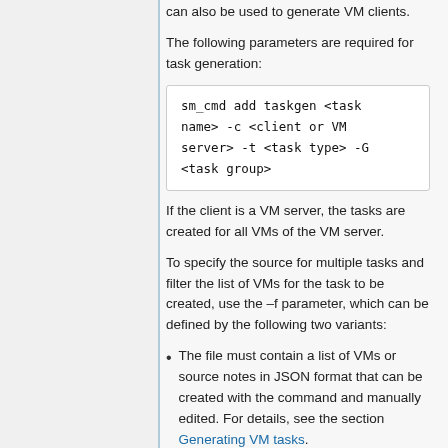can also be used to generate VM clients.
The following parameters are required for task generation:
sm_cmd add taskgen <task name> -c <client or VM server> -t <task type> -G <task group>
If the client is a VM server, the tasks are created for all VMs of the VM server.
To specify the source for multiple tasks and filter the list of VMs for the task to be created, use the –f parameter, which can be defined by the following two variants:
The file must contain a list of VMs or source notes in JSON format that can be created with the command and manually edited. For details, see the section Generating VM tasks.